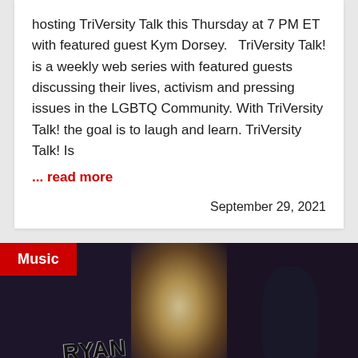hosting TriVersity Talk this Thursday at 7 PM ET with featured guest Kym Dorsey.   TriVersity Talk! is a weekly web series with featured guests discussing their lives, activism and pressing issues in the LGBTQ Community. With TriVersity Talk! the goal is to laugh and learn. TriVersity Talk! Is
... read more
September 29, 2021
[Figure (photo): Photo with a red 'Music' badge in the top-left corner. The image shows graffiti text reading 'RYAN CASSATA' on what appears to be a dark surface, with a glowing light source in the background and a person visible on the right side.]